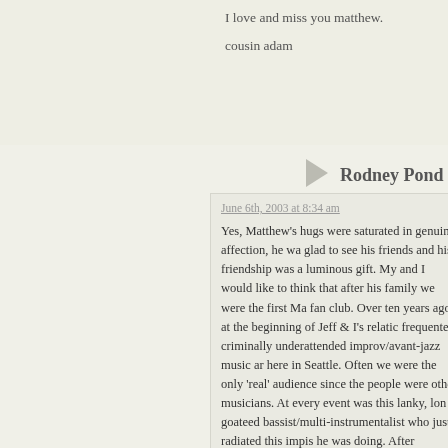I love and miss you matthew.
cousin adam
Rodney Pond
June 6th, 2003 at 8:34 am
Yes, Matthew's hugs were saturated in genuine affection, he was glad to see his friends and his friendship was a luminous gift. My and I would like to think that after his family we were the first Ma fan club. Over ten years ago, at the beginning of Jeff & I's relatio frequented criminally underattended improv/avant-jazz music ar here in Seattle. Often we were the only 'real' audience since the people were other musicians. At every event was this lanky, lon goateed bassist/multi-instrumentalist who just radiated this impis he was doing. After attending several performances he began to us and introduced himself. While the other musicians and perfor our presence for granted, even if we were the entirety of the au Matthew did not. We found out in our first introduction that Matt shared many friends in Florida and in that isn't it a small world m friendship set root.
I could be here all day, writing Matthew stories from the past ten though we were not his closest friends. He seemed to have time everybody, for all his friends. And it occurs to me it feels that wa even if you only saw him once a year, he was entirely present to warmth of that goofy smile and oblique humor was all yours and